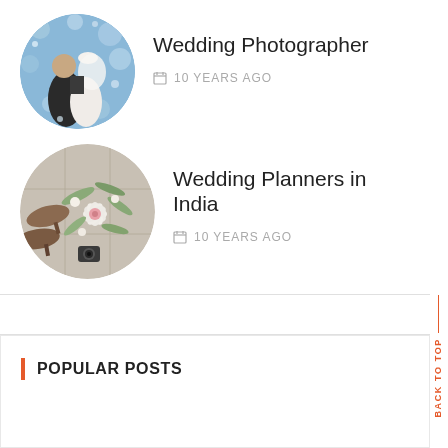[Figure (photo): Circular thumbnail of a couple at a wedding, embracing against a blue bokeh background]
Wedding Photographer
10 YEARS AGO
[Figure (photo): Circular thumbnail showing wedding flat lay with flowers, shoes, and accessories on a tiled surface]
Wedding Planners in India
10 YEARS AGO
BACK TO TOP
POPULAR POSTS